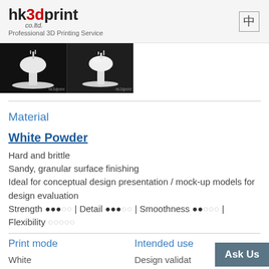hk3dprint co.ltd. — Professional 3D Printing Service
[Figure (photo): Two 3D printed white objects on black background, showing front and side views with hk3dprint watermark]
Material
White Powder
Hard and brittle
Sandy, granular surface finishing
Ideal for conceptual design presentation / mock-up models for design evaluation
Strength ●●●○○ | Detail ●●●○○ | Smoothness ●●○○○ | Flexibility ○○○○○
Print mode
Intended use
White
Design validat…